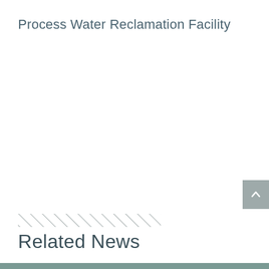Process Water Reclamation Facility
Related News